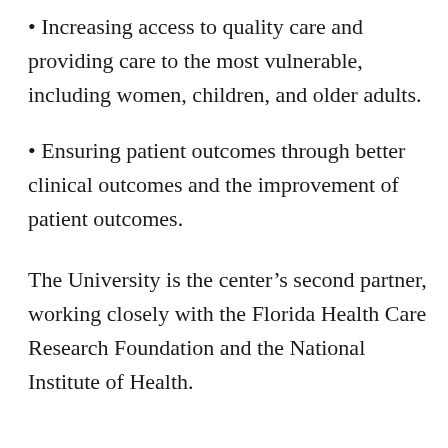• Increasing access to quality care and providing care to the most vulnerable, including women, children, and older adults.
• Ensuring patient outcomes through better clinical outcomes and the improvement of patient outcomes.
The University is the center's second partner, working closely with the Florida Health Care Research Foundation and the National Institute of Health.